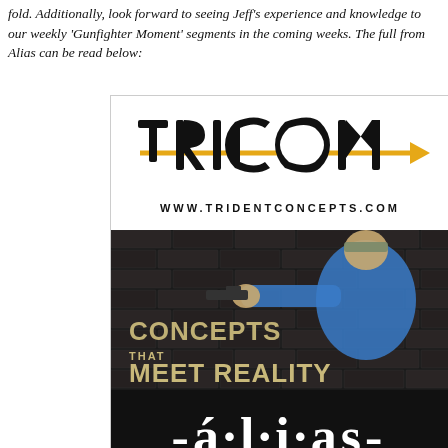fold. Additionally, look forward to seeing Jeff's experience and knowledge to our weekly 'Gunfighter Moment' segments in the coming weeks. The full from Alias can be read below:
[Figure (logo): Trident Concepts logo with the text TRICON and an arrow through it, with website www.tridentconcepts.com below]
[Figure (photo): Man in blue shirt and camo hat wearing ear protection, aiming a pistol at a dark brick wall background with text 'CONCEPTS THAT MEET REALITY']
[Figure (logo): Alias Training logo on dark background showing '-á·l·i·as-' in large white serif font with subtitle text below]